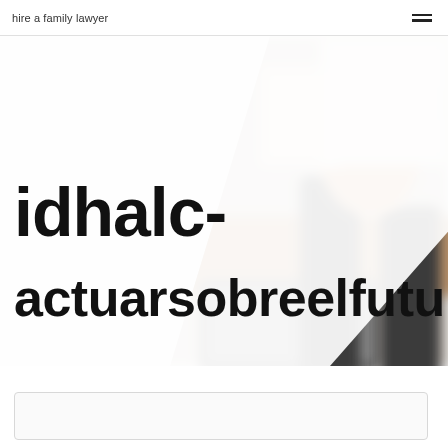hire a family lawyer
[Figure (photo): Hero section with diagonal split: left side white/light background with bold title text 'idhalc-actuarsobreelfuturo', right side blurred office/meeting room photo with laptop, chairs, and desk in background]
idhalc-actuarsobreelfuturo